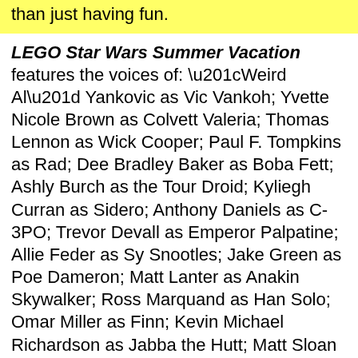than just having fun.
LEGO Star Wars Summer Vacation features the voices of: “Weird Al” Yankovic as Vic Vankoh; Yvette Nicole Brown as Colvett Valeria; Thomas Lennon as Wick Cooper; Paul F. Tompkins as Rad; Dee Bradley Baker as Boba Fett; Ashly Burch as the Tour Droid; Kyliegh Curran as Sidero; Anthony Daniels as C-3PO; Trevor Devall as Emperor Palpatine; Allie Feder as Sy Snootles; Jake Green as Poe Dameron; Matt Lanter as Anakin Skywalker; Ross Marquand as Han Solo; Omar Miller as Finn; Kevin Michael Richardson as Jabba the Hutt; Matt Sloan as Darth Vader; James Arnold Taylor as Obi-Wan Kenobi; Kelly Marie Tran as Rose; Helen Sadler as Rey Skywalker; Billy